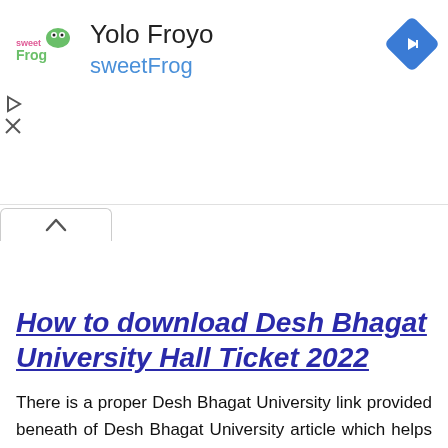[Figure (other): Advertisement banner for Yolo Froyo sweetFrog with logo and navigation icon]
How to download Desh Bhagat University Hall Ticket 2022
There is a proper Desh Bhagat University link provided beneath of Desh Bhagat University article which helps you accessing Desh Bhagat University call letter. Aspirants are curious to download Desh Bhagat University Hall Ticket because they know they may be getting their Desh Bhagat University exam centre information through Desh Bhagat University call letter.